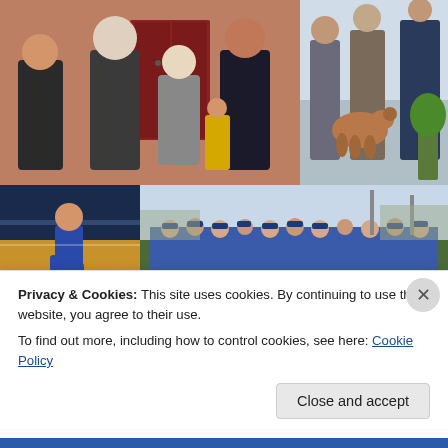[Figure (photo): People gathered in front of brick wall with red doors, a woman in black jacket shaking hands with an older man in black tracksuit, another woman in black blazer present, a young boy in yellow jersey visible in background]
[Figure (photo): Indoor scene with a dog and people standing in what appears to be an office or lobby area]
[Figure (photo): Basketball game action shot showing player running on hardwood court with crowd in background]
[Figure (photo): Large group outdoor team photo with people wearing blue uniforms/jackets]
Privacy & Cookies: This site uses cookies. By continuing to use this website, you agree to their use.
To find out more, including how to control cookies, see here: Cookie Policy
Close and accept